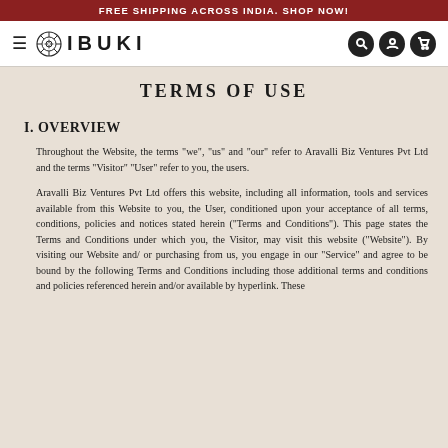FREE SHIPPING ACROSS INDIA. SHOP NOW!
[Figure (logo): IBUKI brand logo with decorative mandala icon and navigation bar including hamburger menu, search, account, and cart icons]
TERMS OF USE
I. OVERVIEW
Throughout the Website, the terms “we”, “us” and “our” refer to Aravalli Biz Ventures Pvt Ltd and the terms “Visitor” “User” refer to you, the users.
Aravalli Biz Ventures Pvt Ltd offers this website, including all information, tools and services available from this Website to you, the User, conditioned upon your acceptance of all terms, conditions, policies and notices stated herein (“Terms and Conditions”). This page states the Terms and Conditions under which you, the Visitor, may visit this website (“Website”). By visiting our Website and/ or purchasing from us, you engage in our “Service” and agree to be bound by the following Terms and Conditions including those additional terms and conditions and policies referenced herein and/or available by hyperlink. These